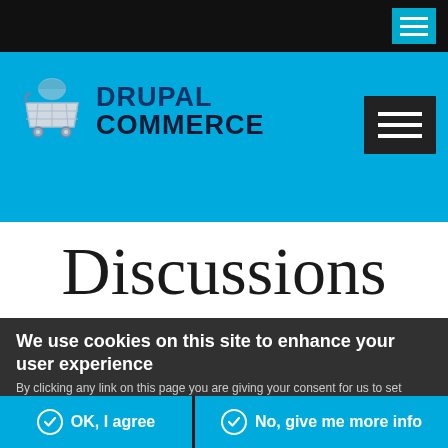[Figure (screenshot): Drupal Commerce website screenshot showing top navigation bar with hamburger menu, blue header with cart logo and DRUPAL COMMERCE text, Discussions page title, and cookie consent overlay with OK/No buttons]
DRUPAL COMMERCE
Discussions
We use cookies on this site to enhance your user experience
By clicking any link on this page you are giving your consent for us to set cookies.
OK, I agree
No, give me more info